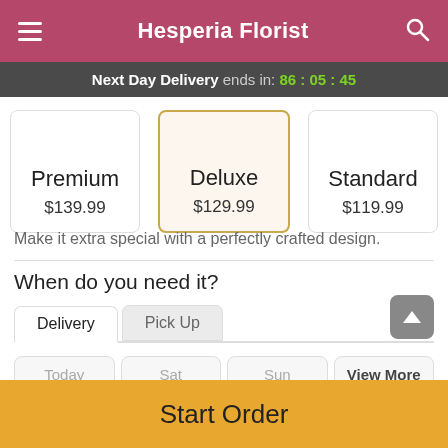Hesperia Florist
Next Day Delivery ends in: 86 : 05 : 45
| Premium | Deluxe | Standard |
| --- | --- | --- |
| $139.99 | $129.99 | $119.99 |
Make it extra special with a perfectly crafted design.
When do you need it?
Delivery | Pick Up
Today | Sat | Sun | View More
Start Order